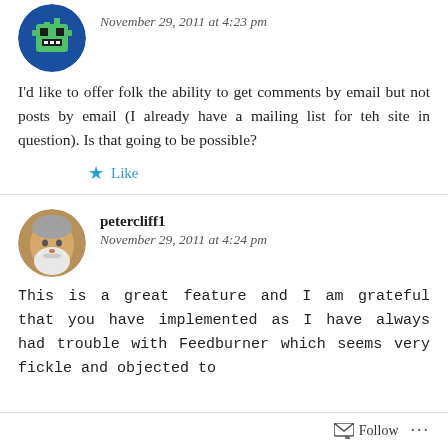[Figure (illustration): Pixel art avatar icon on blue circular background, partially visible at top of page]
November 29, 2011 at 4:23 pm
I'd like to offer folk the ability to get comments by email but not posts by email (I already have a mailing list for teh site in question). Is that going to be possible?
Like
[Figure (photo): Round avatar photo of older man with white beard and gray hair]
petercliff1
November 29, 2011 at 4:24 pm
This is a great feature and I am grateful that you have implemented as I have always had trouble with Feedburner which seems very fickle and objected to